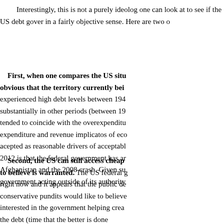Interestingly, this is not a purely ideological question that one can look at to see if the US debt governance is failing in a fairly objective sense. Here are two o
First, when one compares the US situ obvious that the territory currently bei experienced high debt levels between 194 substantially in other periods (between 19 tended to coincide with the overexpenditu expenditure and revenue implicatos of eco acepted as reasonable drivers of acceptable 2012 is that the federal government has ar Afghanistan and the 2008 crash. Given su government acting outside of its authority
Second, the US can still access cheap to believe is warranted. The US federal g right now and it appears that the public de conservative pundits would like to believe interested in the government helping crea the debt (time that the better is done